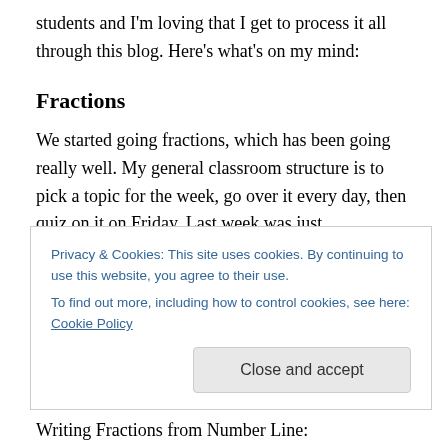students and I'm loving that I get to process it all through this blog. Here's what's on my mind:
Fractions
We started going fractions, which has been going really well. My general classroom structure is to pick a topic for the week, go over it every day, then quiz on it on Friday. Last week was just representing fractions – things like writing a fraction given shaded pieces or given a point on a divided number line. I made these Geogebra programs to help me with the practice problems and to keep the
Privacy & Cookies: This site uses cookies. By continuing to use this website, you agree to their use.
To find out more, including how to control cookies, see here: Cookie Policy
Writing Fractions from Number Line: